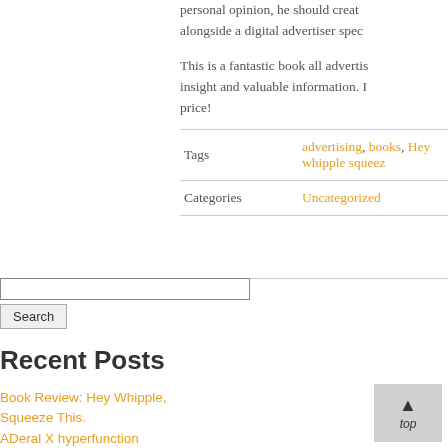personal opinion, he should create alongside a digital advertiser spec
This is a fantastic book all advertis insight and valuable information. I price!
| Tags | advertising, books, Hey whipple squeez |
| Categories | Uncategorized |
Search input and button
Recent Posts
Book Review: Hey Whipple, Squeeze This.
ADeral X hyperfunction
How I Got Here. Why I Do It.
Running an In Class Creative Team